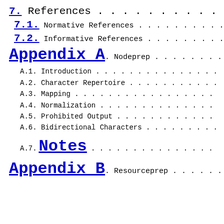7.  References . . . . . . . . . . . . . . . . .
7.1.  Normative References . . . . . . . . . . .
7.2.  Informative References . . . . . . . . . .
Appendix A.  Nodeprep . . . . . . . . . .
A.1.  Introduction . . . . . . . . . . . . . . .
A.2.  Character Repertoire . . . . . . . . . . .
A.3.  Mapping . . . . . . . . . . . . . . . . .
A.4.  Normalization . . . . . . . . . . . . . .
A.5.  Prohibited Output . . . . . . . . . . . .
A.6.  Bidirectional Characters . . . . . . . . .
A.7.  Notes . . . . . . . . . . . . . . . . . .
Appendix B.  Resourceprep . . . . . .